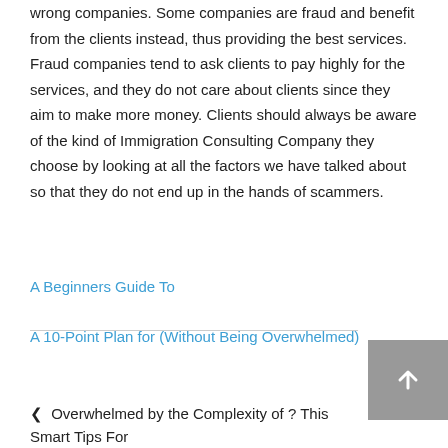wrong companies. Some companies are fraud and benefit from the clients instead, thus providing the best services. Fraud companies tend to ask clients to pay highly for the services, and they do not care about clients since they aim to make more money. Clients should always be aware of the kind of Immigration Consulting Company they choose by looking at all the factors we have talked about so that they do not end up in the hands of scammers.
A Beginners Guide To
A 10-Point Plan for (Without Being Overwhelmed)
❮ Overwhelmed by the Complexity of ? This Smart Tips For